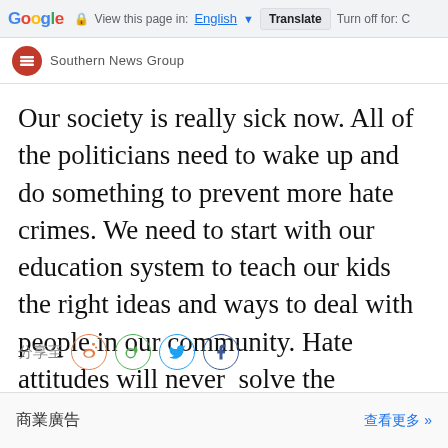Google  View this page in: English ▼  Translate  Turn off for: C
[Figure (logo): Southern News Group logo - red circle with white bars, text reads 'Southern News Group']
Our society is really sick now. All of the politicians need to wake up and do something to prevent more hate crimes. We need to start with our education system to teach our kids the right ideas and ways to deal with people in our community. Hate attitudes will never  solve the problem.
[Figure (infographic): Social share buttons: 分享至 (Share to) with icons for Weibo, WeChat, Twitter, and Facebook]
商業廣告  查看更多»